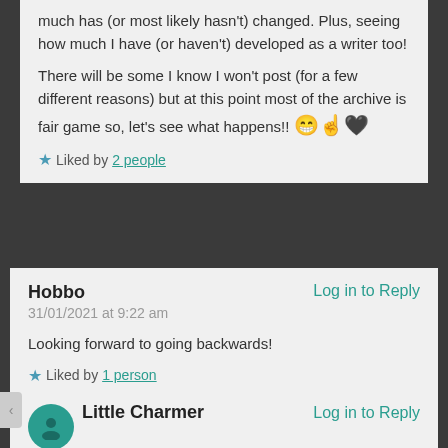much has (or most likely hasn't) changed. Plus, seeing how much I have (or haven't) developed as a writer too!

There will be some I know I won't post (for a few different reasons) but at this point most of the archive is fair game so, let's see what happens!! 😁☝🖤
★ Liked by 2 people
Hobbo
31/01/2021 at 9:22 am
Log in to Reply
Looking forward to going backwards!
★ Liked by 1 person
Little Charmer
Log in to Reply